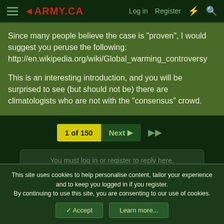ARMY.CA — Log in | Register
Since many people believe the case is "proven", I would suggest you peruse the following: http://en.wikipedia.org/wiki/Global_warming_controversy

This is an interesting introduction, and you will be surprised to see (but should not be) there are climatologists who are not with the "consensus" crowd.
1 of 150  Next  ▶▶
You must log in or register to reply here.
Similar threads
This site uses cookies to help personalise content, tailor your experience and to keep you logged in if you register.
By continuing to use this site, you are consenting to our use of cookies.